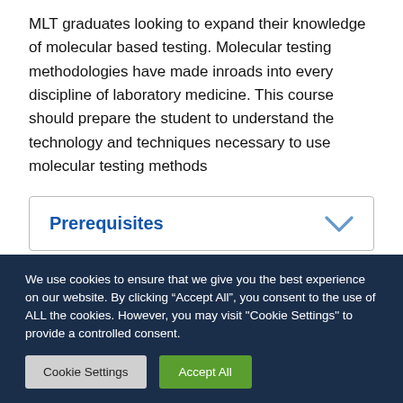MLT graduates looking to expand their knowledge of molecular based testing. Molecular testing methodologies have made inroads into every discipline of laboratory medicine. This course should prepare the student to understand the technology and techniques necessary to use molecular testing methods
Prerequisites
We use cookies to ensure that we give you the best experience on our website. By clicking “Accept All”, you consent to the use of ALL the cookies. However, you may visit "Cookie Settings" to provide a controlled consent.